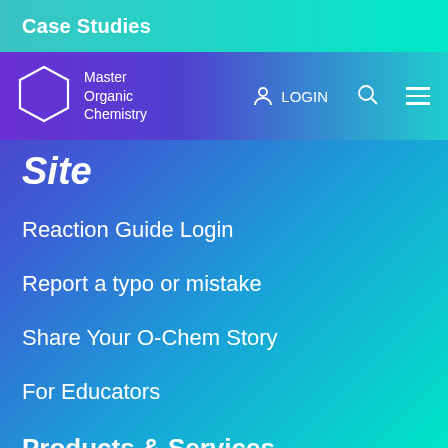Case Studies
[Figure (logo): Master Organic Chemistry logo with hexagon icon and navigation bar showing LOGIN, search, and hamburger menu icons]
Site
Reaction Guide Login
Report a typo or mistake
Share Your O-Chem Story
For Educators
Products & Services
Online Tutoring
Reagent Guide